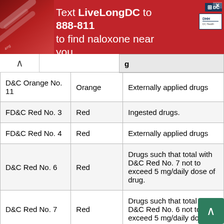[Figure (infographic): Advertisement banner: 'Text LiveLongDC to 888-811 to find naloxone near you.' Red background with syringe image on left and DC/DHH logos on right.]
| Name | Color | Uses |
| --- | --- | --- |
| D&C Orange No. 11 | Orange | Externally applied drugs |
| FD&C Red No. 3 | Red | Ingested drugs. |
| FD&C Red No. 4 | Red | Externally applied drugs |
| D&C Red No. 6 | Red | Drugs such that total with D&C Red No. 7 not to exceed 5 mg/daily dose of drug. |
| D&C Red No. 7 | Red | Drugs such that total with D&C Red No. 6 not to exceed 5 mg/daily dose of |